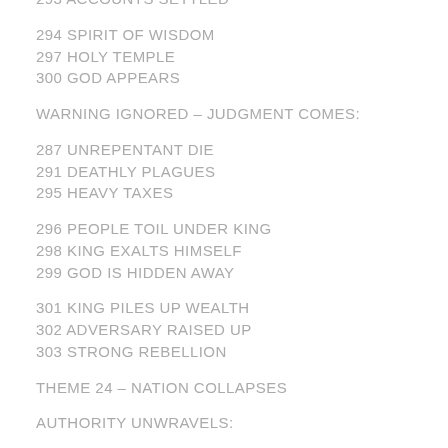293 ACCOUNTS SETTLED
294 SPIRIT OF WISDOM
297 HOLY TEMPLE
300 GOD APPEARS
WARNING IGNORED – JUDGMENT COMES:
287 UNREPENTANT DIE
291 DEATHLY PLAGUES
295 HEAVY TAXES
296 PEOPLE TOIL UNDER KING
298 KING EXALTS HIMSELF
299 GOD IS HIDDEN AWAY
301 KING PILES UP WEALTH
302 ADVERSARY RAISED UP
303 STRONG REBELLION
THEME 24 – NATION COLLAPSES
AUTHORITY UNWRAVELS: